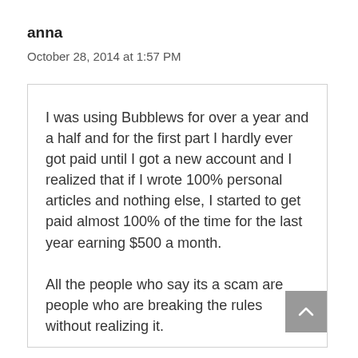anna
October 28, 2014 at 1:57 PM
I was using Bubblews for over a year and a half and for the first part I hardly ever got paid until I got a new account and I realized that if I wrote 100% personal articles and nothing else, I started to get paid almost 100% of the time for the last year earning $500 a month.

All the people who say its a scam are people who are breaking the rules without realizing it.